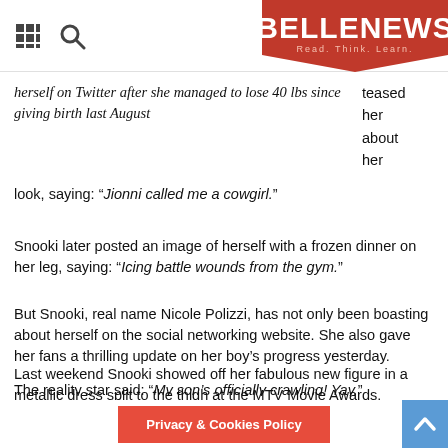BELLENEWS - Read. Think. Learn.
herself on Twitter after she managed to lose 40 lbs since giving birth last August ... teased her about her look, saying: “Jionni called me a cowgirl.”
Snooki later posted an image of herself with a frozen dinner on her leg, saying: “Icing battle wounds from the gym.”
But Snooki, real name Nicole Polizzi, has not only been boasting about herself on the social networking website. She also gave her fans a thrilling update on her boy’s progress yesterday.
The reality star said: “My son’s officially crawling! Yay.”
Last weekend Snooki showed off her fabulous new figure in a metallic dress split to the thigh at the MTV Movie Awards.
Privacy & Cookies Policy